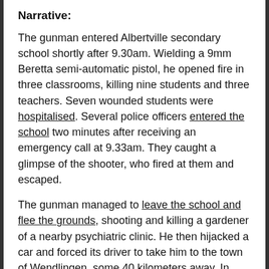Narrative:
The gunman entered Albertville secondary school shortly after 9.30am. Wielding a 9mm Beretta semi-automatic pistol, he opened fire in three classrooms, killing nine students and three teachers. Seven wounded students were hospitalised. Several police officers entered the school two minutes after receiving an emergency call at 9.33am. They caught a glimpse of the shooter, who fired at them and escaped.
The gunman managed to leave the school and flee the grounds, shooting and killing a gardener of a nearby psychiatric clinic. He then hijacked a car and forced its driver to take him to the town of Wendlingen, some 40 kilometers away. In Wendlingen, he walked into a car dealership and demanded a vehicle. The gunman shot repeatedly at police as they approached the building. Caught in the crossfire, a sales representative